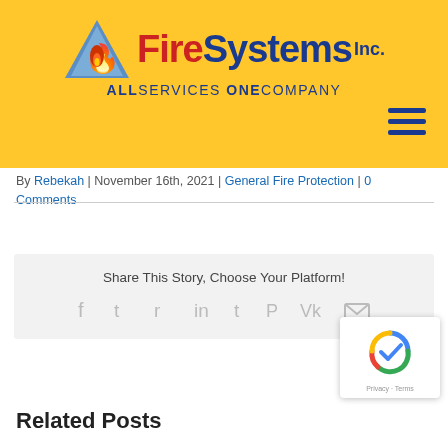[Figure (logo): Fire Systems Inc. logo with triangle icon, red 'Fire' and blue 'Systems Inc.' text, tagline 'ALL SERVICES ONE COMPANY' on yellow header background]
By Rebekah | November 16th, 2021 | General Fire Protection | 0 Comments
Share This Story, Choose Your Platform!
[Figure (infographic): Social sharing icons: Facebook, Twitter, Reddit, LinkedIn, Tumblr, Pinterest, VK, Email]
[Figure (other): reCAPTCHA badge with Google logo, Privacy and Terms links]
Related Posts